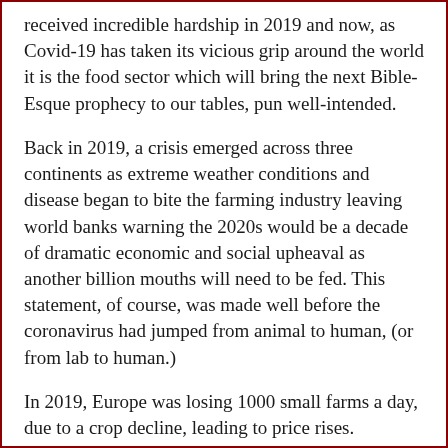received incredible hardship in 2019 and now, as Covid-19 has taken its vicious grip around the world it is the food sector which will bring the next Bible-Esque prophecy to our tables, pun well-intended.
Back in 2019, a crisis emerged across three continents as extreme weather conditions and disease began to bite the farming industry leaving world banks warning the 2020s would be a decade of dramatic economic and social upheaval as another billion mouths will need to be fed. This statement, of course, was made well before the coronavirus had jumped from animal to human, (or from lab to human.)
In 2019, Europe was losing 1000 small farms a day, due to a crop decline, leading to price rises. Officials were using the word 'disaster' to describe the widespread crop failures happening all over America and in Asia pork prices had doubled after more than a quarter of the entire global pig population had been slaughtered by autonomous (also in China) for